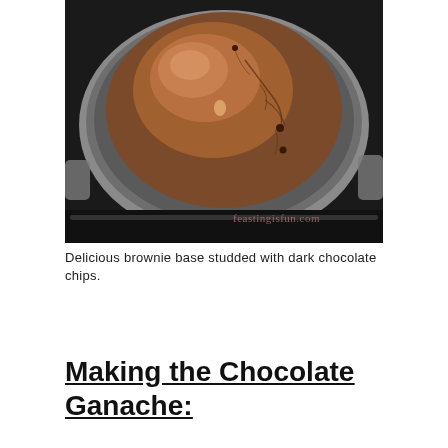[Figure (photo): Top-down view of a domed chocolate brownie baked in a round silver cake pan, showing cracked and shiny surface with chocolate chips visible, watermark text 'feastingisfun.com' in pink/red in bottom right corner, pan resting on a stove grate.]
Delicious brownie base studded with dark chocolate chips.
Making the Chocolate Ganache: